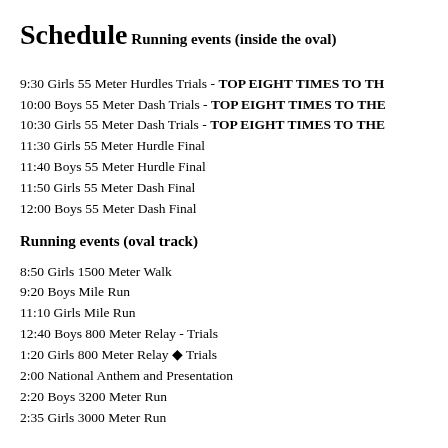Schedule
Running events (inside the oval)
9:30 Girls 55 Meter Hurdles Trials - TOP EIGHT TIMES TO TH…
10:00 Boys 55 Meter Dash Trials - TOP EIGHT TIMES TO THE…
10:30 Girls 55 Meter Dash Trials - TOP EIGHT TIMES TO THE…
11:30 Girls 55 Meter Hurdle Final
11:40 Boys 55 Meter Hurdle Final
11:50 Girls 55 Meter Dash Final
12:00 Boys 55 Meter Dash Final
Running events (oval track)
8:50 Girls 1500 Meter Walk
9:20 Boys Mile Run
11:10 Girls Mile Run
12:40 Boys 800 Meter Relay - Trials
1:20 Girls 800 Meter Relay ◆ Trials
2:00 National Anthem and Presentation
2:20 Boys 3200 Meter Run
2:35 Girls 3000 Meter Run